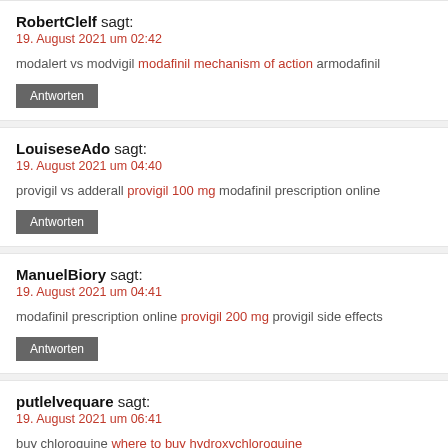RobertClelf sagt:
19. August 2021 um 02:42
modalert vs modvigil modafinil mechanism of action armodafinil
[Antworten]
LouiseseAdo sagt:
19. August 2021 um 04:40
provigil vs adderall provigil 100 mg modafinil prescription online
[Antworten]
ManuelBiory sagt:
19. August 2021 um 04:41
modafinil prescription online provigil 200 mg provigil side effects
[Antworten]
putlelvequare sagt:
19. August 2021 um 06:41
buy chloroquine where to buy hydroxychloroquine
[Antworten]